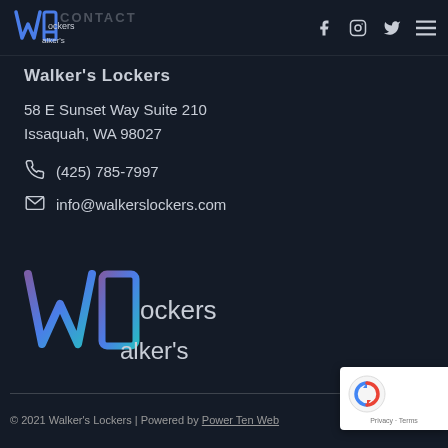[Figure (logo): Walker's Lockers logo in top navigation bar with social media icons (Facebook, Instagram, Twitter) and hamburger menu]
Walker's Lockers
58 E Sunset Way Suite 210
Issaquah, WA 98027
(425) 785-7997
info@walkerslockers.com
[Figure (logo): Large Walker's Lockers logo in footer area]
© 2021 Walker's Lockers | Powered by Power Ten Web